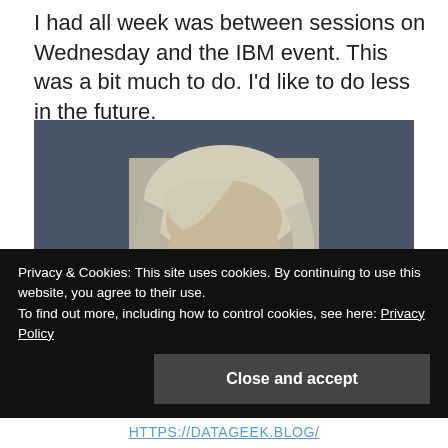I had all week was between sessions on Wednesday and the IBM event. This was a bit much to do. I'd like to do less in the future.
[Figure (photo): Black and white portrait photo of a woman with glasses and blonde hair against a dark blue-gray background]
Privacy & Cookies: This site uses cookies. By continuing to use this website, you agree to their use.
To find out more, including how to control cookies, see here: Privacy Policy
Close and accept
HTTPS://DATAGEEK.BLOG/